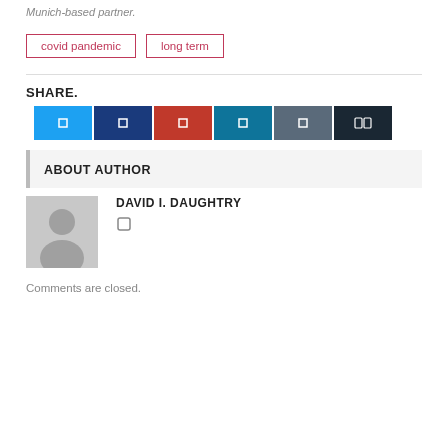Munich-based partner.
covid pandemic
long term
SHARE.
[Figure (other): Social share buttons: Twitter (blue), Facebook (dark blue), Pinterest (red), LinkedIn (teal), and two other platform buttons (grey/dark)]
ABOUT AUTHOR
[Figure (photo): Default user avatar silhouette in grey square]
DAVID I. DAUGHTRY
Comments are closed.